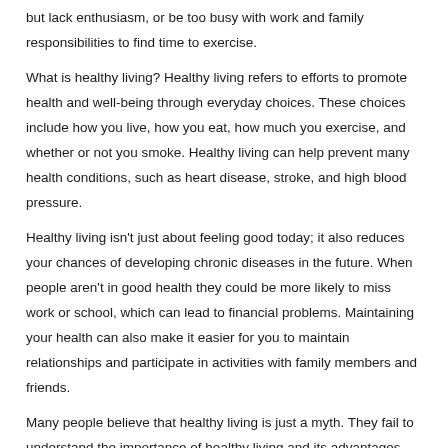but lack enthusiasm, or be too busy with work and family responsibilities to find time to exercise.
What is healthy living? Healthy living refers to efforts to promote health and well-being through everyday choices. These choices include how you live, how you eat, how much you exercise, and whether or not you smoke. Healthy living can help prevent many health conditions, such as heart disease, stroke, and high blood pressure.
Healthy living isn't just about feeling good today; it also reduces your chances of developing chronic diseases in the future. When people aren't in good health they could be more likely to miss work or school, which can lead to financial problems. Maintaining your health can also make it easier for you to maintain relationships and participate in activities with family members and friends.
Many people believe that healthy living is just a myth. They fail to understand the importance of healthy living and its advantages.